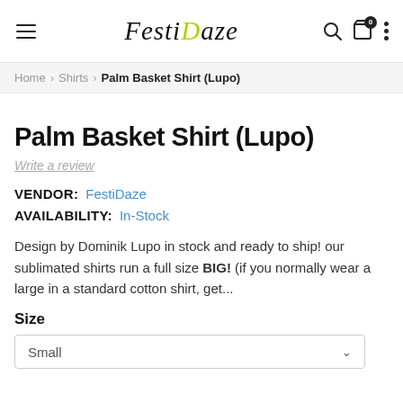FestiDaze navigation header with hamburger menu, logo, search, cart (0), and more options
Home > Shirts > Palm Basket Shirt (Lupo)
Palm Basket Shirt (Lupo)
Write a review
VENDOR: FestiDaze
AVAILABILITY: In-Stock
Design by Dominik Lupo in stock and ready to ship! our sublimated shirts run a full size BIG! (if you normally wear a large in a standard cotton shirt, get...
Size
Small